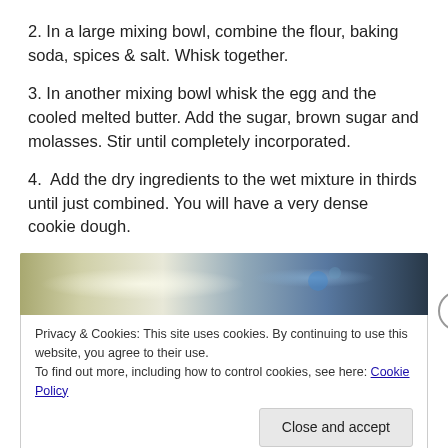2. In a large mixing bowl, combine the flour, baking soda, spices & salt. Whisk together.
3. In another mixing bowl whisk the egg and the cooled melted butter. Add the sugar, brown sugar and molasses. Stir until completely incorporated.
4.  Add the dry ingredients to the wet mixture in thirds until just combined. You will have a very dense cookie dough.
[Figure (photo): A dark atmospheric photo of baking/mixing scene with blue and light tones]
Privacy & Cookies: This site uses cookies. By continuing to use this website, you agree to their use.
To find out more, including how to control cookies, see here: Cookie Policy